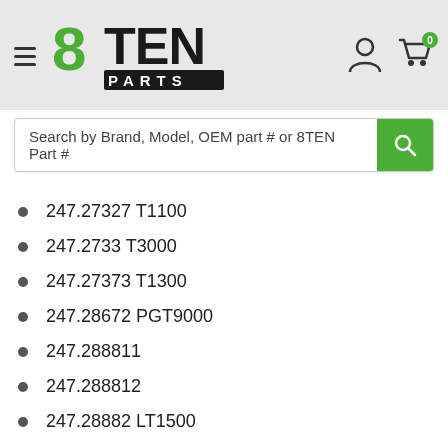[Figure (logo): 8TEN Parts logo in green and black with hamburger menu, user icon, and shopping cart with 0 badge]
Search by Brand, Model, OEM part # or 8TEN Part #
247.27327 T1100
247.2733 T3000
247.27373 T1300
247.28672 PGT9000
247.288811
247.288812
247.28882 LT1500
247.28883
247.288831